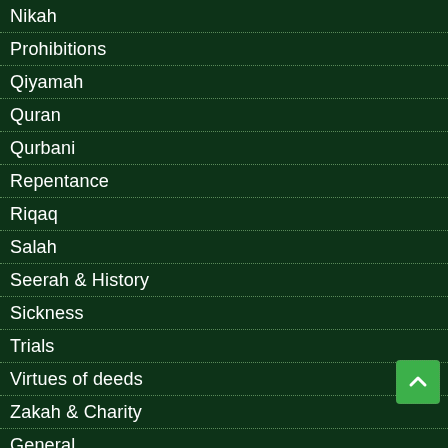Nikah
Prohibitions
Qiyamah
Quran
Qurbani
Repentance
Riqaq
Salah
Seerah & History
Sickness
Trials
Virtues of deeds
Zakah & Charity
General
Authentication